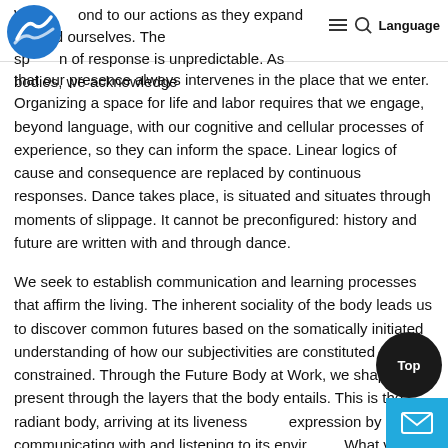We respond to our actions as they expand beyond ourselves. The sp n of response is unpredictable. As bodies, we acknowledge
[Figure (logo): Blue circular logo with mountain/wave icon]
that our presence always intervenes in the place that we enter. Organizing a space for life and labor requires that we engage, beyond language, with our cognitive and cellular processes of experience, so they can inform the space. Linear logics of cause and consequence are replaced by continuous responses. Dance takes place, is situated and situates through moments of slippage. It cannot be preconfigured: history and future are written with and through dance.
We seek to establish communication and learning processes that affirm the living. The inherent sociality of the body leads us to discover common futures based on the somatically initiated understanding of how our subjectivities are constituted and constrained. Through the Future Body at Work, we shape the present through the layers that the body entails. This is the radiant body, arriving at its liveness and expression by communicating with and listening to its environment. What visions of the future can be enacted by such a body? And